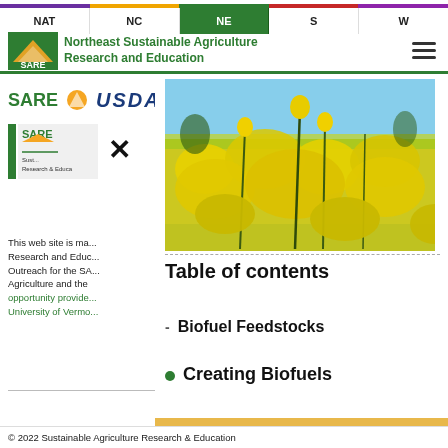NAT | NC | NE | S | W
[Figure (logo): SARE logo with Northeast Sustainable Agriculture Research and Education text and hamburger menu icon]
[Figure (screenshot): Website screenshot showing SARE and USDA logos row, partially overlaid by a popup panel with a close (X) button, a photo of yellow canola/mustard flowers in bloom, a dashed divider, Table of contents heading, and two bullet list items: Biofuel Feedstocks and Creating Biofuels]
This web site is ma... Research and Educ... Outreach for the SA... Agriculture and the opportunity provide... University of Vermo...
Biofuel Feedstocks
Creating Biofuels
© 2022 Sustainable Agriculture Research & Education